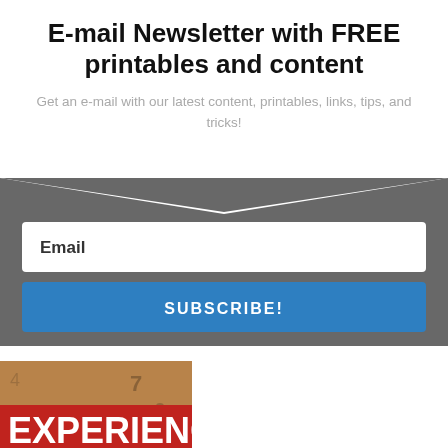E-mail Newsletter with FREE printables and content
Get an e-mail with our latest content, printables, links, tips, and tricks!
[Figure (infographic): Email subscription form with dark gray background, chevron/pinched top shape, white email input field labeled 'Email', and a blue 'SUBSCRIBE!' button]
[Figure (photo): Partial image showing the word EXPERIENCE in large white bold text with red background overlay, on a textured brown/tan background with numbers visible]